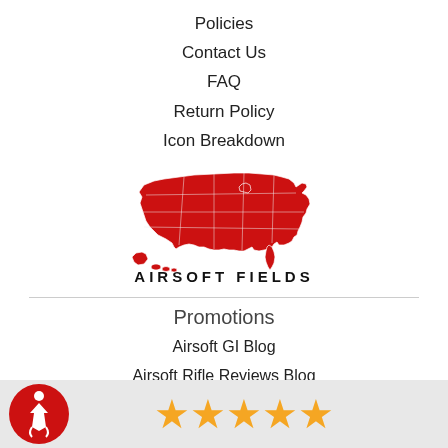Policies
Contact Us
FAQ
Return Policy
Icon Breakdown
[Figure (map): Red silhouette map of the United States with state borders shown in white lines, above the text AIRSOFT FIELDS in bold uppercase spaced letters]
Promotions
Airsoft GI Blog
Airsoft Rifle Reviews Blog
Airsoft GI Promotions
Call Your Hits Game
[Figure (infographic): Red and white accessibility wheelchair icon in a red circle, followed by five gold star rating icons on a light gray background bar]